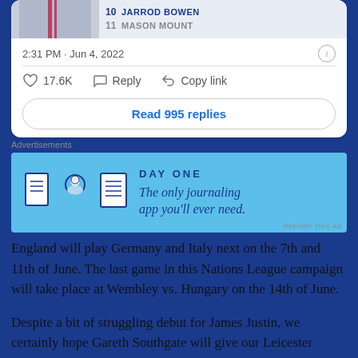[Figure (screenshot): Cropped screenshot of a tweet showing a jersey image on left and player list on right with Jarrod Bowen (10) and Mason Mount (11) visible]
2:31 PM · Jun 4, 2022
♡ 17.6K   Reply   Copy link
Read 995 replies
Advertisements
[Figure (infographic): Day One journaling app advertisement banner in blue with icons and text: 'The only journaling app you'll ever need.']
England will play Germany and Italy next on the 7th and 11th of June. The last game in this Nations League campaign will take place at Wembley vs. Hungary on the 14th of June.
Despite a bit of struggling debut for James Justin, we certainly hope Gareth Southgate will give our Leicester favorite new opportunities and not make